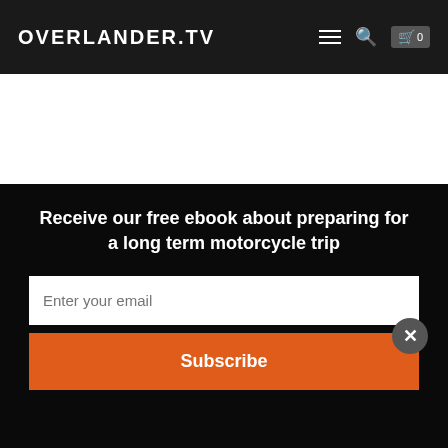OVERLANDER.TV
The best bar I found was Croke Park/Whitey's where everyone's welcome, drinks are cheap, pool is free and the jukebox plays some kicking tunes.
Named for its former owner Whitey McGrail, who was gunned down in the pub in 1985.
After visiting many dive bars all round the USA ( and believe me I had a list) from Key's West to Chicago, I crown Croke Park/Whitey's the BEST DIVE BAR in the USA. And as an Aussie, my decision is infallible!
Receive our free ebook about preparing for a long term motorcycle trip
Enter your email
Subscribe